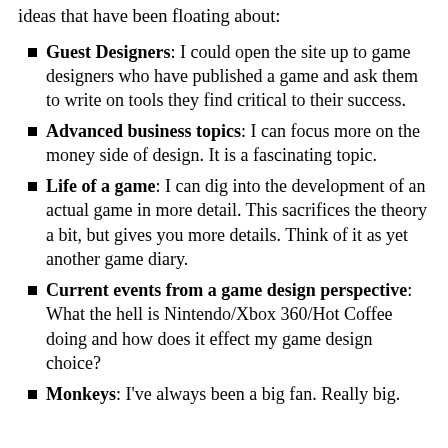I'm curious what you are interested in. Here are some ideas that have been floating about:
Guest Designers: I could open the site up to game designers who have published a game and ask them to write on tools they find critical to their success.
Advanced business topics: I can focus more on the money side of design. It is a fascinating topic.
Life of a game: I can dig into the development of an actual game in more detail. This sacrifices the theory a bit, but gives you more details. Think of it as yet another game diary.
Current events from a game design perspective: What the hell is Nintendo/Xbox 360/Hot Coffee doing and how does it effect my game design choice?
Monkeys: I've always been a big fan. Really big.